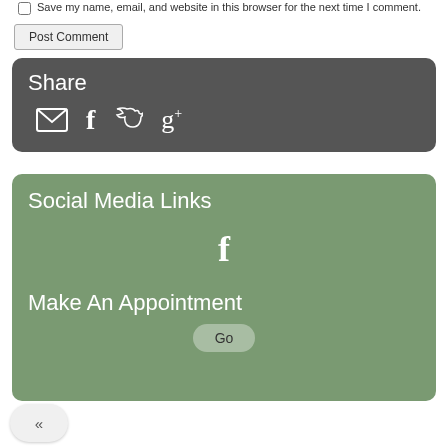Save my name, email, and website in this browser for the next time I comment.
Post Comment
Share
[Figure (infographic): Share icons: email envelope, Facebook f, Twitter bird, Google+]
Social Media Links
[Figure (infographic): Facebook icon centered]
Make An Appointment
Go